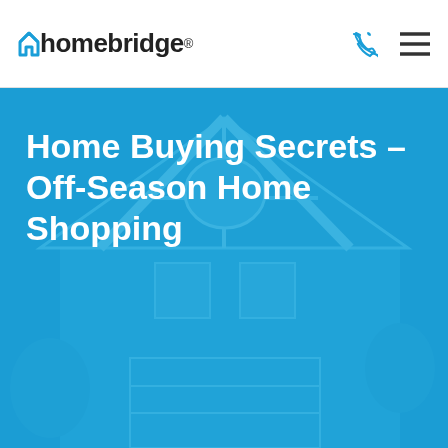[Figure (logo): Homebridge logo with blue accent H and registered trademark symbol]
Home Buying Secrets – Off-Season Home Shopping
[Figure (photo): Blue-tinted photo of a house exterior showing roof gable, garage, and siding as background of the hero section]